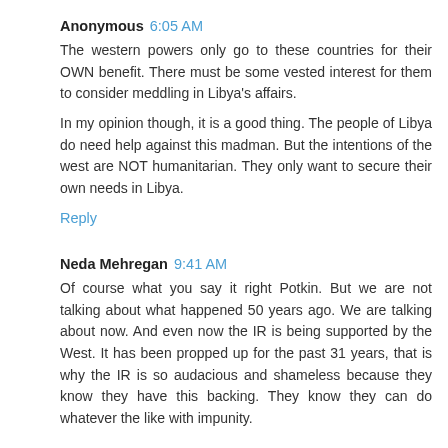Anonymous 6:05 AM
The western powers only go to these countries for their OWN benefit. There must be some vested interest for them to consider meddling in Libya's affairs.
In my opinion though, it is a good thing. The people of Libya do need help against this madman. But the intentions of the west are NOT humanitarian. They only want to secure their own needs in Libya.
Reply
Neda Mehregan 9:41 AM
Of course what you say it right Potkin. But we are not talking about what happened 50 years ago. We are talking about now. And even now the IR is being supported by the West. It has been propped up for the past 31 years, that is why the IR is so audacious and shameless because they know they have this backing. They know they can do whatever the like with impunity.